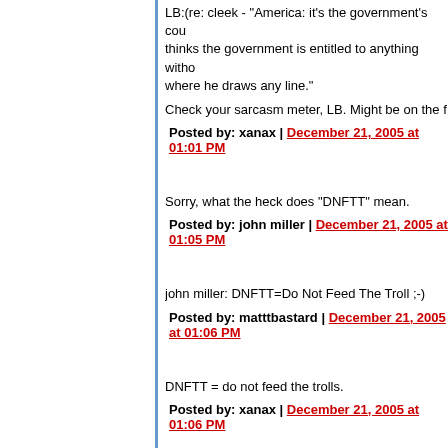LB:(re: cleek - "America: it's the government's cou thinks the government is entitled to anything witho where he draws any line."
Check your sarcasm meter, LB. Might be on the f
Posted by: xanax | December 21, 2005 at 01:01 PM
Sorry, what the heck does "DNFTT" mean.
Posted by: john miller | December 21, 2005 at 01:05 PM
john miller: DNFTT=Do Not Feed The Troll ;-)
Posted by: matttbastard | December 21, 2005 at 01:06 PM
DNFTT = do not feed the trolls.
Posted by: xanax | December 21, 2005 at 01:06 PM
Thank you. Even at my advanced age I find myse
Posted by: john miller | December 21, 2005 at 01:08 PM